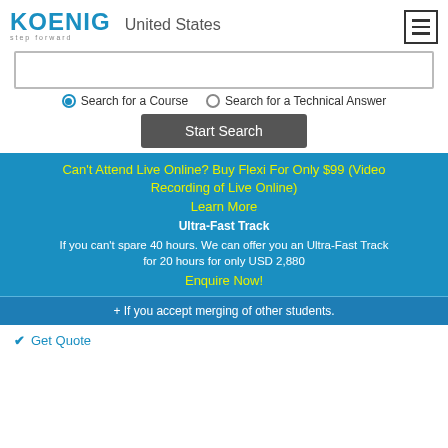[Figure (logo): Koenig Solutions logo with 'KOENIG' in large letters, tagline 'step forward' below, and 'United States' location text. Menu hamburger icon top right.]
Search for a Course (selected radio) | Search for a Technical Answer (unselected radio)
Start Search (button)
Can't Attend Live Online? Buy Flexi For Only $99 (Video Recording of Live Online)
Learn More
Ultra-Fast Track
If you can't spare 40 hours. We can offer you an Ultra-Fast Track for 20 hours for only USD 2,880
Enquire Now!
+ If you accept merging of other students.
✔ Get Quote